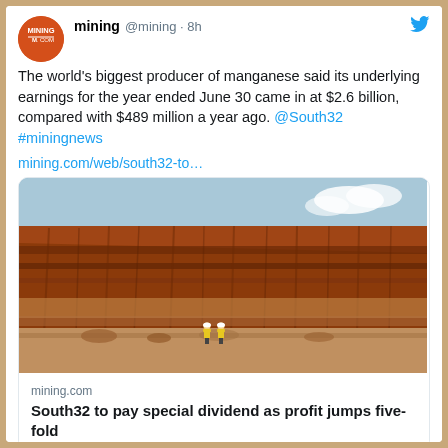[Figure (logo): Mining.com circular orange logo with white text]
mining @mining · 8h
The world's biggest producer of manganese said its underlying earnings for the year ended June 30 came in at $2.6 billion, compared with $489 million a year ago. @South32 #miningnews
mining.com/web/south32-to…
[Figure (photo): Photo of a red-rock mining cliff face with two workers in yellow vests at the base]
mining.com
South32 to pay special dividend as profit jumps five-fold
1   7